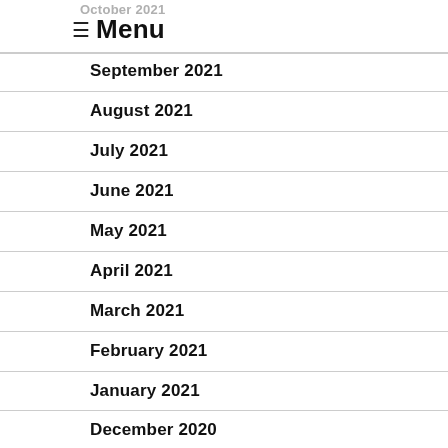October 2021 ☰ Menu
September 2021
August 2021
July 2021
June 2021
May 2021
April 2021
March 2021
February 2021
January 2021
December 2020
November 2020
October 2020
September 2020